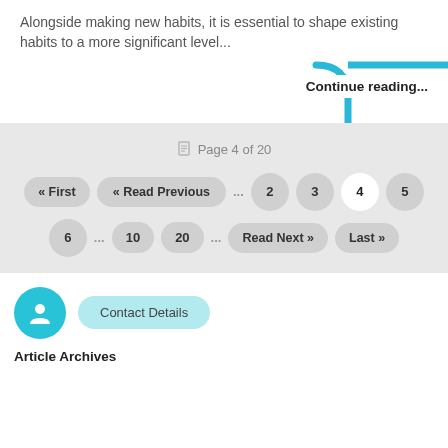Alongside making new habits, it is essential to shape existing habits to a more significant level...
Continue reading...
Page 4 of 20
« First  « Read Previous  ...  2  3  4  5
6  ...  10  20  ...  Read Next »  Last »
Contact Details
Article Archives